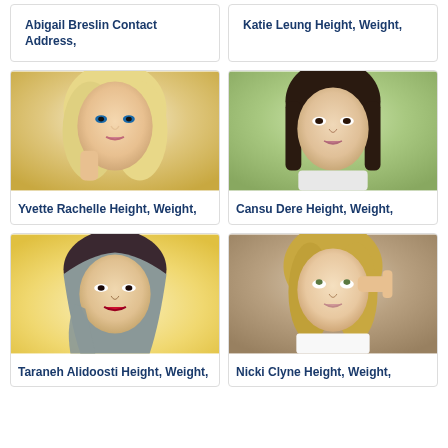Abigail Breslin Contact Address,
Katie Leung Height, Weight,
[Figure (photo): Portrait photo of a blonde woman with blue eyes and glamorous makeup]
[Figure (photo): Portrait photo of a dark-haired woman against green background]
Yvette Rachelle Height, Weight,
Cansu Dere Height, Weight,
[Figure (photo): Portrait photo of a woman wearing a headscarf against warm yellow background]
[Figure (photo): Portrait photo of a blonde woman looking upward with hand near temple]
Taraneh Alidoosti Height, Weight,
Nicki Clyne Height, Weight,